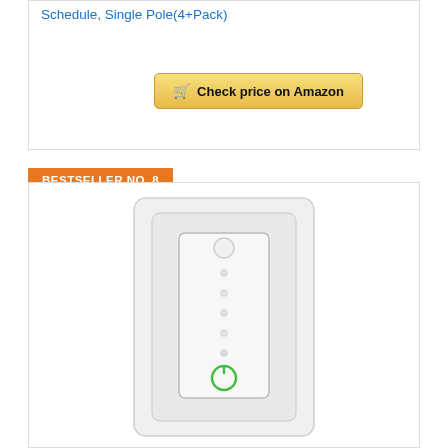Schedule, Single Pole(4+Pack)
Check price on Amazon
BESTSELLER NO. 8
[Figure (photo): Smart dimmer wall switch, white, with LED indicator dots and green power button at the bottom, mounted on a white wall plate.]
Smart Dimmer Switch Compatible with Alexa and Google Assistant Single-Pole 2.4Ghz Wi-Fi Light Switch for Dimming Lights, APP Remote and Voice Control Timer Schedule, Neutral Wire